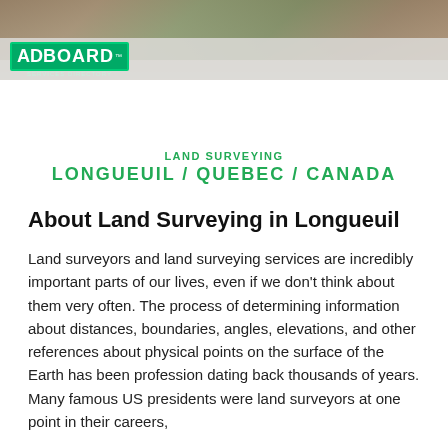[Figure (photo): Header banner with landscape photo and AdBoard Services Directory logo]
LAND SURVEYING
LONGUEUIL / QUEBEC / CANADA
About Land Surveying in Longueuil
Land surveyors and land surveying services are incredibly important parts of our lives, even if we don't think about them very often. The process of determining information about distances, boundaries, angles, elevations, and other references about physical points on the surface of the Earth has been profession dating back thousands of years. Many famous US presidents were land surveyors at one point in their careers,